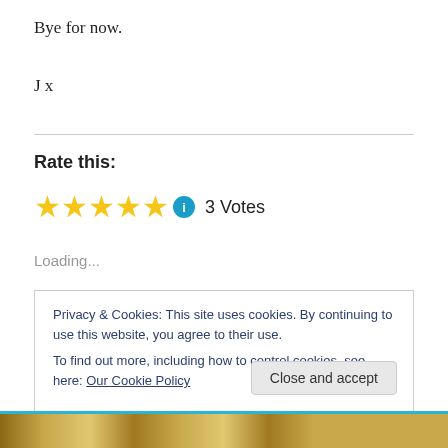Bye for now.
J x
Rate this:
★★★★★ ℹ 3 Votes
Loading...
Privacy & Cookies: This site uses cookies. By continuing to use this website, you agree to their use.
To find out more, including how to control cookies, see here: Our Cookie Policy
Close and accept
[Figure (photo): Bottom image strip showing a decorative pattern in brown/tan tones with a teal border at top]